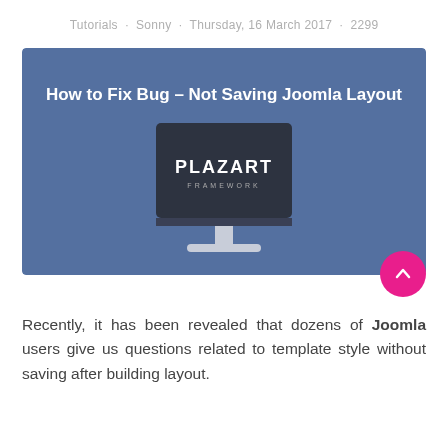Tutorials · Sonny · Thursday, 16 March 2017 · 2299
[Figure (illustration): Blue banner image with white bold text 'How to Fix Bug – Not Saving Joomla Layout' at the top and a dark desktop monitor illustration displaying the PLAZART FRAMEWORK logo in the center.]
Recently, it has been revealed that dozens of Joomla users give us questions related to template style without saving after building layout.